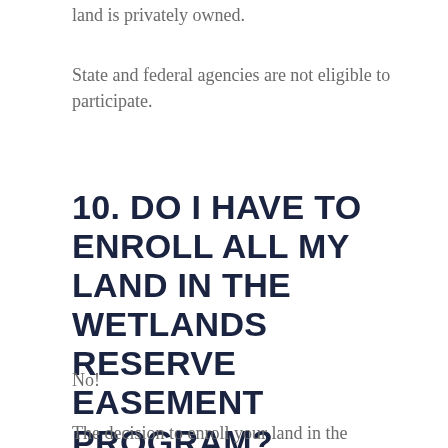land is privately owned.
State and federal agencies are not eligible to participate.
10. DO I HAVE TO ENROLL ALL MY LAND IN THE WETLANDS RESERVE EASEMENT PROGRAM?
No!
The decision to enroll your land in the